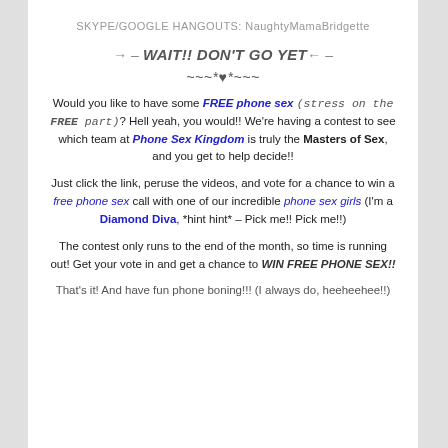SKYPE/GOOGLE HANGOUTS: NaughtyMamaBridgette
→ – WAIT!! DON'T GO YET← –
~~~*♥*~~~
Would you like to have some FREE phone sex (stress on the FREE part)? Hell yeah, you would!! We're having a contest to see which team at Phone Sex Kingdom is truly the Masters of Sex, and you get to help decide!!
Just click the link, peruse the videos, and vote for a chance to win a free phone sex call with one of our incredible phone sex girls (I'm a Diamond Diva, *hint hint* – Pick me!! Pick me!!)
The contest only runs to the end of the month, so time is running out! Get your vote in and get a chance to WIN FREE PHONE SEX!!
That's it! And have fun phone boning!!! (I always do, heeheehee!!)